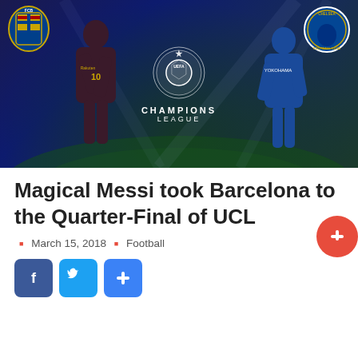[Figure (photo): UEFA Champions League promotional image featuring Barcelona (Messi, #10) on the left in dark blue/maroon kit and Chelsea player on the right in blue kit, with FCB crest top-left and Chelsea crest top-right, UEFA Champions League logo in the center, stadium background]
Magical Messi took Barcelona to the Quarter-Final of UCL
March 15, 2018  Football
[Figure (infographic): Three social media share buttons: Facebook (blue rounded square with f), Twitter (blue rounded square with bird), and a blue plus/share button]